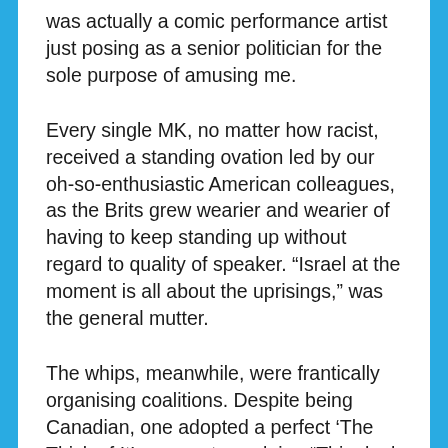was actually a comic performance artist just posing as a senior politician for the sole purpose of amusing me.
Every single MK, no matter how racist, received a standing ovation led by our oh-so-enthusiastic American colleagues, as the Brits grew wearier and wearier of having to keep standing up without regard to quality of speaker. “Israel at the moment is all about the uprisings,” was the general mutter.
The whips, meanwhile, were frantically organising coalitions. Despite being Canadian, one adopted a perfect ‘The Thick of It’ manner to exclaim: “This deal is like being